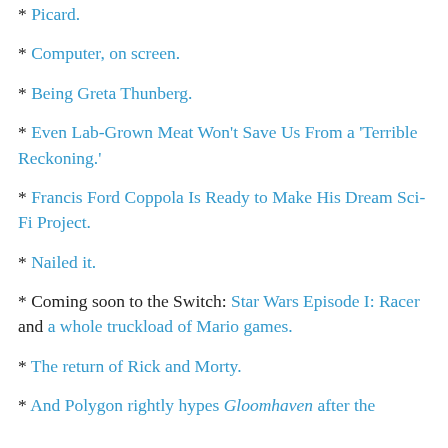* Picard.
* Computer, on screen.
* Being Greta Thunberg.
* Even Lab-Grown Meat Won't Save Us From a 'Terrible Reckoning.'
* Francis Ford Coppola Is Ready to Make His Dream Sci-Fi Project.
* Nailed it.
* Coming soon to the Switch: Star Wars Episode I: Racer and a whole truckload of Mario games.
* The return of Rick and Morty.
* And Polygon rightly hypes Gloomhaven after the